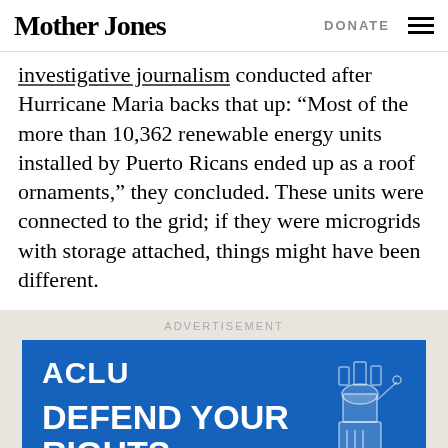Mother Jones | DONATE
investigative journalism conducted after Hurricane Maria backs that up: “Most of the more than 10,362 renewable energy units installed by Puerto Ricans ended up as a roof ornaments,” they concluded. These units were connected to the grid; if they were microgrids with storage attached, things might have been different.
ADVERTISEMENT
[Figure (illustration): ACLU advertisement banner on blue background with text 'ACLU' and 'DEFEND YOUR RIGHTS.' with a chess piece (rook) graphic on the right side]